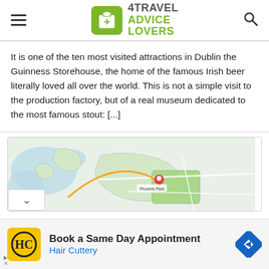4TRAVEL ADVICE LOVERS
It is one of the ten most visited attractions in Dublin the Guinness Storehouse, the home of the famous Irish beer literally loved all over the world. This is not a simple visit to the production factory, but of a real museum dedicated to the most famous stout: [...]
[Figure (map): Map showing location with orange arrow and 'COSA VEDERE' text overlay (mirrored/reversed), pin marker on map]
[Figure (infographic): Advertisement banner: Hair Cuttery - Book a Same Day Appointment, with HC logo in yellow circle and blue navigation icon]